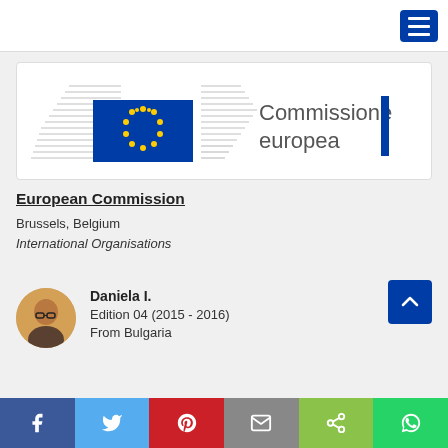[Figure (logo): European Commission logo with EU flag (blue rectangle with yellow stars) and 'Commissione europea' text with vertical blue bar]
European Commission
Brussels, Belgium
International Organisations
[Figure (photo): Circular profile photo of Daniela I.]
Daniela I.
Edition 04 (2015 - 2016)
From Bulgaria
Social share bar: Facebook, Twitter, Pinterest, Email, Share, WhatsApp